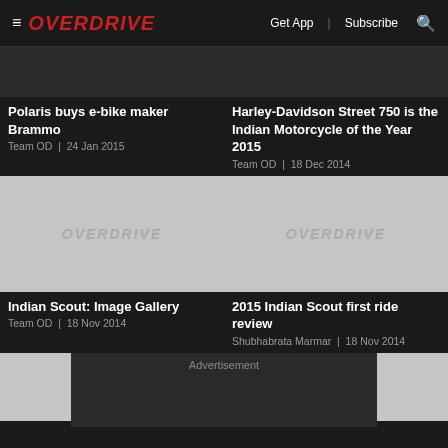OVERDRIVE | Get App | Subscribe
[Figure (screenshot): Article card image top-left (cropped, dark)]
Polaris buys e-bike maker Brammo
Team OD | 24 Jan 2015
[Figure (screenshot): Article card image top-right (cropped, dark)]
Harley-Davidson Street 750 is the Indian Motorcycle of the Year 2015
Team OD | 18 Dec 2014
[Figure (photo): Overdrive placeholder image for Indian Scout: Image Gallery]
Indian Scout: Image Gallery
Team OD | 18 Nov 2014
[Figure (photo): Overdrive placeholder image for 2015 Indian Scout first ride review]
2015 Indian Scout first ride review
Shubhabrata Marmar | 18 Nov 2014
[Figure (other): Bottom left article card image placeholder]
[Figure (other): Bottom right article card image placeholder]
Advertisement